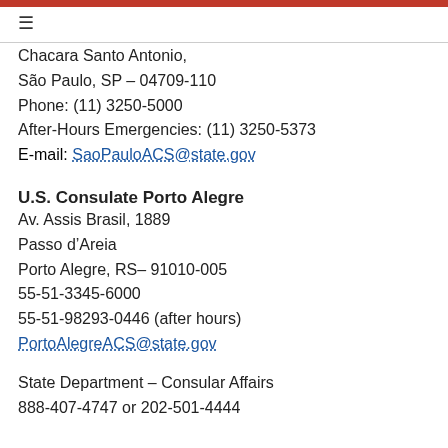≡
Chacara Santo Antonio,
São Paulo, SP – 04709-110
Phone: (11) 3250-5000
After-Hours Emergencies: (11) 3250-5373
E-mail: SaoPauloACS@state.gov
U.S. Consulate Porto Alegre
Av. Assis Brasil, 1889
Passo d'Areia
Porto Alegre, RS– 91010-005
55-51-3345-6000
55-51-98293-0446 (after hours)
PortoAlegreACS@state.gov
State Department – Consular Affairs
888-407-4747 or 202-501-4444